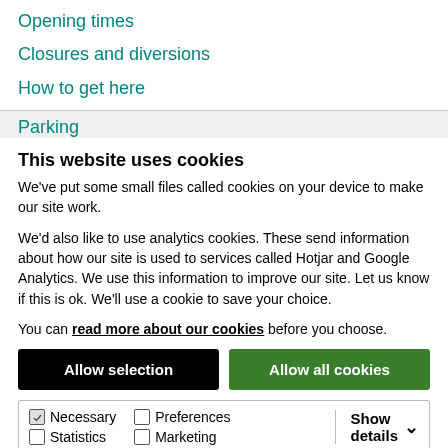Opening times
Closures and diversions
How to get here
Parking
This website uses cookies
We've put some small files called cookies on your device to make our site work.
We'd also like to use analytics cookies. These send information about how our site is used to services called Hotjar and Google Analytics. We use this information to improve our site. Let us know if this is ok. We'll use a cookie to save your choice.
You can read more about our cookies before you choose.
Allow selection
Allow all cookies
Necessary  Preferences  Statistics  Marketing  Show details